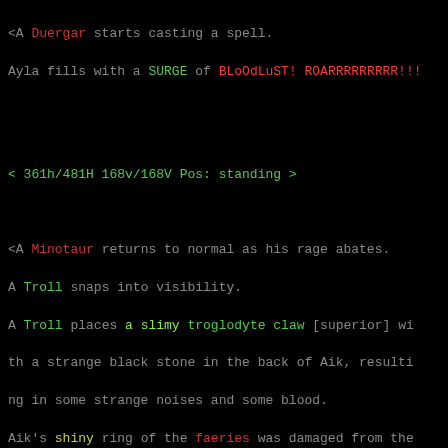<A Duergar starts casting a spell.
Ayla fills with a SURGE of BLoOdLuST! ROARRRRRRRRR!!!
< 361h/481H 168v/168V Pos: standing >
<A Minotaur returns to normal as his rage abates.
A Troll snaps into visibility.
A Troll places a slimy troglodyte claw [superior] with a strange black stone in the back of Aik, resulting in some strange noises and some blood.
Aik's shiny ring of the faeries was damaged from the massive blow!
Sainth enters from the north.
Sainth enters from the north.
Sainth enters from the north.
Sainth enters from the north.
Wodo attempts to flee.
Wodo leaves south.
< 361h/481H 168v/168V Pos: standing >
<A Troll completes his spell...
A Troll utters the words 'abrauztg gpahhzfuio uqzbarr'
A Troll points at Aik.